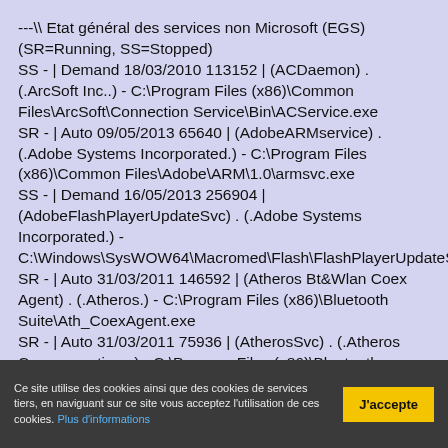---\\ Etat général des services non Microsoft (EGS) (SR=Running, SS=Stopped)
SS - | Demand 18/03/2010 113152 | (ACDaemon) . (.ArcSoft Inc..) - C:\Program Files (x86)\Common Files\ArcSoft\Connection Service\Bin\ACService.exe
SR - | Auto 09/05/2013 65640 | (AdobeARMservice) . (.Adobe Systems Incorporated.) - C:\Program Files (x86)\Common Files\Adobe\ARM\1.0\armsvc.exe
SS - | Demand 16/05/2013 256904 | (AdobeFlashPlayerUpdateSvc) . (.Adobe Systems Incorporated.) - C:\Windows\SysWOW64\Macromed\Flash\FlashPlayerUpdateServic
SR - | Auto 31/03/2011 146592 | (Atheros Bt&Wlan Coex Agent) . (.Atheros.) - C:\Program Files (x86)\Bluetooth Suite\Ath_CoexAgent.exe
SR - | Auto 31/03/2011 75936 | (AtherosSvc) . (.Atheros Commnucations.) - C:\Program Files (x86)\Bluetooth
Ce site utilise des cookies ainsi que des cookies de services tiers, en naviguant sur ce site vous acceptez l'utilisation de ces cookies. Plus d'informations